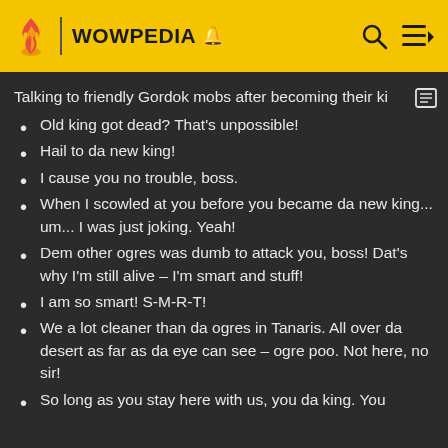WOWPEDIA
Talking to friendly Gordok mobs after becoming their ki
Old king got dead? That's unpossible!
Hail to da new king!
I cause you no trouble, boss.
When I scowled at you before you became da new king... um... I was just joking. Yeah!
Dem other ogres was dumb to attack you, boss! Dat's why I'm still alive – I'm smart and stuff!
I am so smart! S-M-R-T!
We a lot cleaner than da ogres in Tanaris. All over da desert as far as da eye can see – ogre poo. Not here, no sir!
So long as you stay here with us, you da king. You